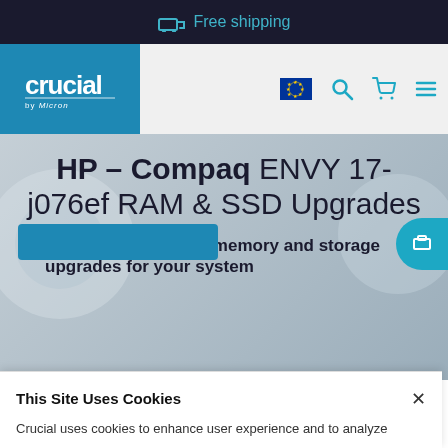Free shipping
[Figure (logo): Crucial by Micron logo on teal/blue background]
HP – Compaq ENVY 17-j076ef RAM & SSD Upgrades
We have compatible memory and storage upgrades for your system
This Site Uses Cookies
Crucial uses cookies to enhance user experience and to analyze